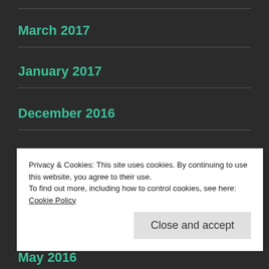March 2017
January 2017
December 2016
November 2016
October 2016
Privacy & Cookies: This site uses cookies. By continuing to use this website, you agree to their use.
To find out more, including how to control cookies, see here: Cookie Policy
May 2016